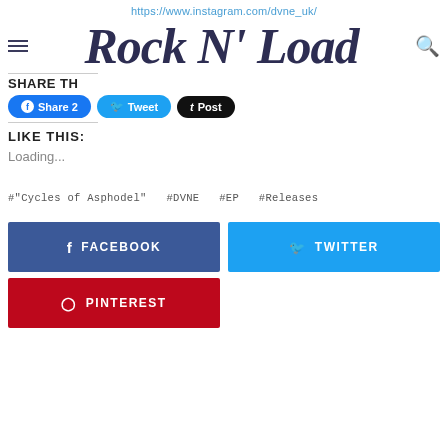https://www.instagram.com/dvne_uk/
[Figure (logo): Rock N' Load logo in dark navy serif/display font with decorative letterforms]
SHARE TH
Share 2  Tweet  Post
LIKE THIS:
Loading...
#"Cycles of Asphodel"  #DVNE  #EP  #Releases
FACEBOOK  TWITTER  PINTEREST